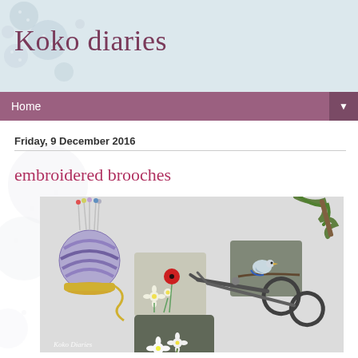Koko diaries
Home
Friday, 9 December 2016
embroidered brooches
[Figure (photo): Photo of three embroidered felt brooches with floral designs (daisies, poppies, bird) arranged on a table alongside a decorative pincushion, scissors, and green embroidery floss. Watermark reads 'Koko Diaries'.]